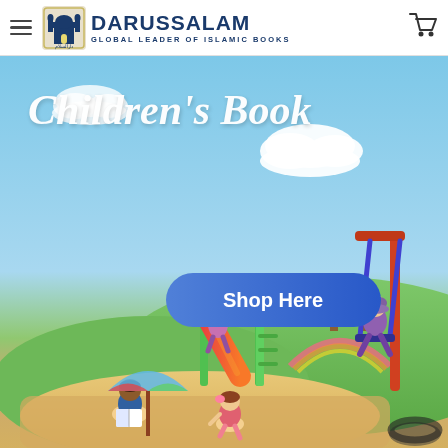DARUSSALAM — GLOBAL LEADER OF ISLAMIC BOOKS
[Figure (illustration): Darussalam children's book promotional banner with sky blue background, 'Children's Book' script text, a 'Shop Here' blue oval button, and cartoon children playing on a playground with slide, swing, and sandbox.]